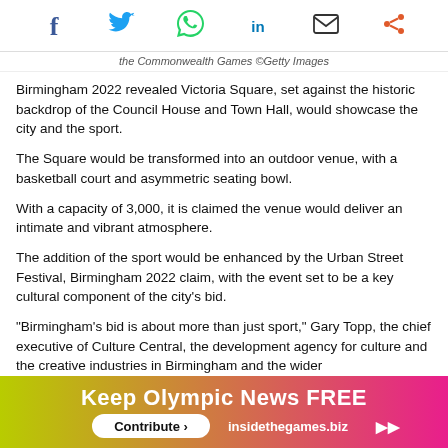Social share icons: Facebook, Twitter, WhatsApp, LinkedIn, Email, Share
the Commonwealth Games ©Getty Images
Birmingham 2022 revealed Victoria Square, set against the historic backdrop of the Council House and Town Hall, would showcase the city and the sport.
The Square would be transformed into an outdoor venue, with a basketball court and asymmetric seating bowl.
With a capacity of 3,000, it is claimed the venue would deliver an intimate and vibrant atmosphere.
The addition of the sport would be enhanced by the Urban Street Festival, Birmingham 2022 claim, with the event set to be a key cultural component of the city's bid.
"Birmingham's bid is about more than just sport," Gary Topp, the chief executive of Culture Central, the development agency for culture and the creative industries in Birmingham and the wider
[Figure (infographic): Advertisement banner: 'Keep Olympic News FREE' with 'Contribute >' button and 'insidethegames.biz' link on a gradient green to pink background.]